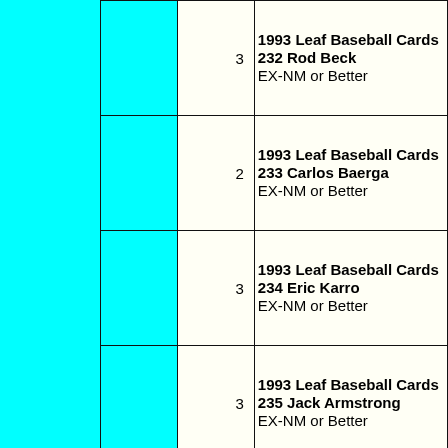| Image | Qty | Description |
| --- | --- | --- |
|  | 3 | 1993 Leaf Baseball Cards 232 Rod Beck EX-NM or Better |
|  | 2 | 1993 Leaf Baseball Cards 233 Carlos Baerga EX-NM or Better |
|  | 3 | 1993 Leaf Baseball Cards 234 Eric Karro EX-NM or Better |
|  | 3 | 1993 Leaf Baseball Cards 235 Jack Armstrong EX-NM or Better |
|  |  | 1993 Leaf |